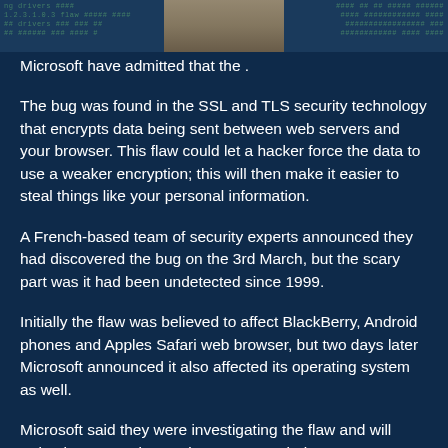[Figure (photo): Top strip showing a partial photo of a person with code/terminal text overlay on dark blue background]
Microsoft have admitted that the .
The bug was found in the SSL and TLS security technology that encrypts data being sent between web servers and your browser. This flaw could let a hacker force the data to use a weaker encryption; this will then make it easier to steal things like your personal information.
A French-based team of security experts announced they had discovered the bug on the 3rd March, but the scary part was it had been undetected since 1999.
Initially the flaw was believed to affect BlackBerry, Android phones and Apples Safari web browser, but two days later Microsoft announced it also affected its operating system as well.
Microsoft said they were investigating the flaw and will "take the appropriate action to protect their customers". This will